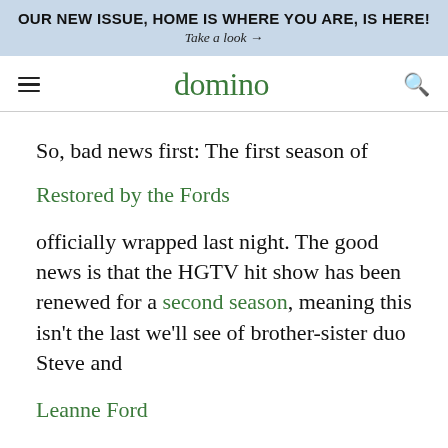OUR NEW ISSUE, HOME IS WHERE YOU ARE, IS HERE! Take a look →
domino
So, bad news first: The first season of Restored by the Fords officially wrapped last night. The good news is that the HGTV hit show has been renewed for a second season, meaning this isn't the last we'll see of brother-sister duo Steve and Leanne Ford